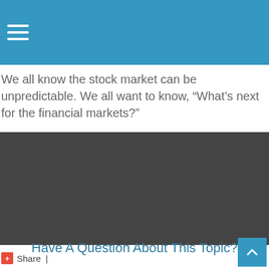We all know the stock market can be unpredictable. We all want to know, “What’s next for the financial markets?”
[Figure (other): Dark gray rectangular placeholder area, likely a video or image embed]
+ Share |
Have A Question About This Topic?